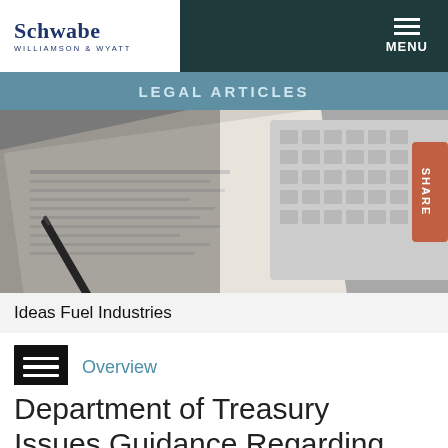Schwabe Williamson & Wyatt | MENU
LEGAL ARTICLES
[Figure (photo): Hero image showing newspaper pages and a keyboard in grayscale, with a terracotta-colored 'SHARE' tab on the right edge]
Ideas Fuel Industries
Overview
Department of Treasury Issues Guidance Regarding